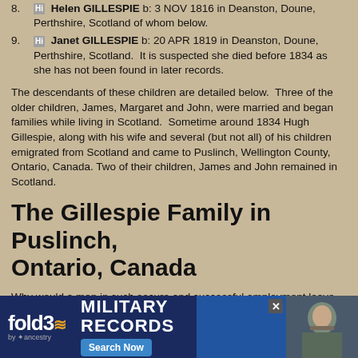8. Hi Helen GILLESPIE b: 3 NOV 1816 in Deanston, Doune, Perthshire, Scotland of whom below.
9. Hi Janet GILLESPIE b: 20 APR 1819 in Deanston, Doune, Perthshire, Scotland. It is suspected she died before 1834 as she has not been found in later records.
The descendants of these children are detailed below. Three of the older children, James, Margaret and John, were married and began families while living in Scotland. Sometime around 1834 Hugh Gillespie, along with his wife and several (but not all) of his children emigrated from Scotland and came to Puslinch, Wellington County, Ontario, Canada. Two of their children, James and John remained in Scotland.
The Gillespie Family in Puslinch, Ontario, Canada
Why would a man in such secure and successful employment leave everything behind for the unknown and uncleared wilderness of Upper Canada? We don't know why the Gillespies left Deanston, but it must be noted that Hugh would have been 60 years old at the time, so he may have been retired and the impetus may have come from his adult children. We can only speculate.
The Gillespie family along with daughter Mary Gillespie's in-laws, the Stewarts, l… Township, … y can be found s…
[Figure (other): fold3 by Ancestry advertisement banner for Military Records with Search Now button and soldier photo]